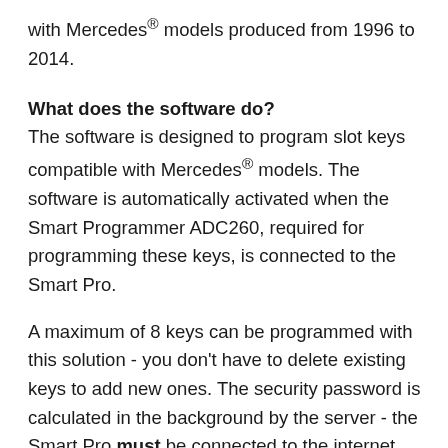with Mercedes® models produced from 1996 to 2014.
What does the software do?
The software is designed to program slot keys compatible with Mercedes® models. The software is automatically activated when the Smart Programmer ADC260, required for programming these keys, is connected to the Smart Pro.
A maximum of 8 keys can be programmed with this solution - you don't have to delete existing keys to add new ones. The security password is calculated in the background by the server - the Smart Pro must be connected to the internet. The 4-button slot key by Ilco PQR-BENZ-4B1 is required for this software and off...